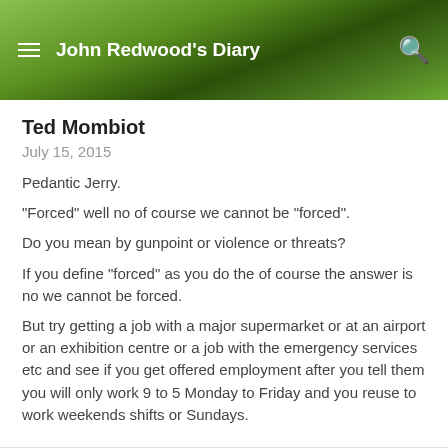John Redwood's Diary
Ted Mombiot
July 15, 2015
Pedantic Jerry.
“Forced” well no of course we cannot be “forced”.

Do you mean by gunpoint or violence or threats?
If you define “forced” as you do the of course the answer is no we cannot be forced.
But try getting a job with a major supermarket or at an airport or an exhibition centre or a job with the emergency services etc and see if you get offered employment after you tell them you will only work 9 to 5 Monday to Friday and you reuse to work weekends shifts or Sundays.